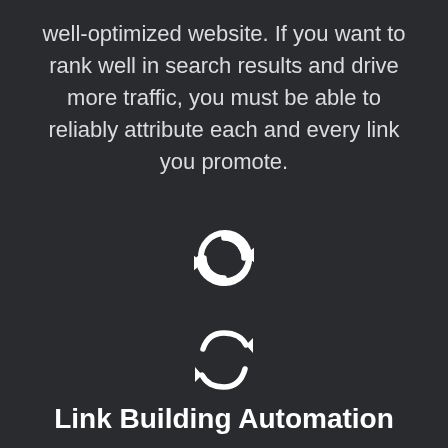well-optimized website. If you want to rank well in search results and drive more traffic, you must be able to reliably attribute each and every link you promote.
[Figure (illustration): Circular arrows/refresh icon in white, indicating automation or cycling]
Link Building Automation
We create marketing automation scripts to speed up link building. The idea behind automation software is to automate link building by analyzing the data generated by prospecting campaigns and automatically find patterns that can be adapted across your